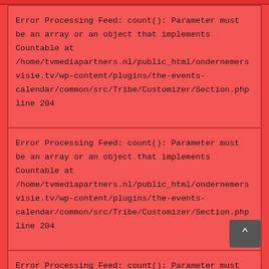Error Processing Feed: count(): Parameter must be an array or an object that implements Countable at /home/tvmediapartners.nl/public_html/ondernemersvisie.tv/wp-content/plugins/the-events-calendar/common/src/Tribe/Customizer/Section.php line 204
Error Processing Feed: count(): Parameter must be an array or an object that implements Countable at /home/tvmediapartners.nl/public_html/ondernemersvisie.tv/wp-content/plugins/the-events-calendar/common/src/Tribe/Customizer/Section.php line 204
Error Processing Feed: count(): Parameter must be an array or an object that implements Countable at